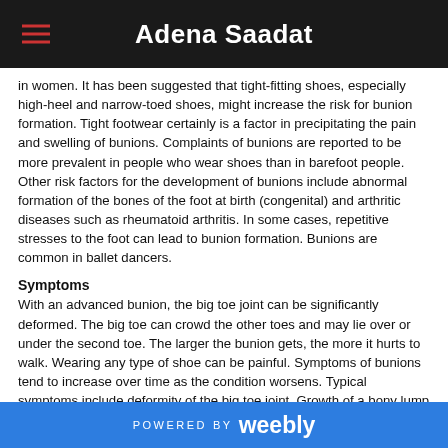Adena Saadat
in women. It has been suggested that tight-fitting shoes, especially high-heel and narrow-toed shoes, might increase the risk for bunion formation. Tight footwear certainly is a factor in precipitating the pain and swelling of bunions. Complaints of bunions are reported to be more prevalent in people who wear shoes than in barefoot people. Other risk factors for the development of bunions include abnormal formation of the bones of the foot at birth (congenital) and arthritic diseases such as rheumatoid arthritis. In some cases, repetitive stresses to the foot can lead to bunion formation. Bunions are common in ballet dancers.
Symptoms
With an advanced bunion, the big toe joint can be significantly deformed. The big toe can crowd the other toes and may lie over or under the second toe. The larger the bunion gets, the more it hurts to walk. Wearing any type of shoe can be painful. Symptoms of bunions tend to increase over time as the condition worsens. Typical symptoms include deformity of the big toe joint. Growth of a bony lump (exostosis) at the side of the big toe joint. Pain, redness and tissue swelling (bursitis) over the big toe joint, with thickening of overlying skin. Pain when walking (particularly during the "push off" phase). Overlapping of the big toe above or below the second toe in severe cases.
POWERED BY weebly